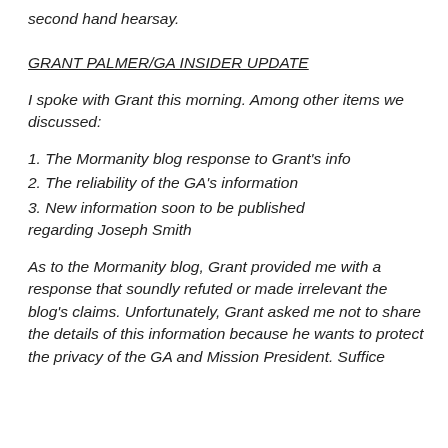second hand hearsay.
GRANT PALMER/GA INSIDER UPDATE
I spoke with Grant this morning. Among other items we discussed:
1. The Mormanity blog response to Grant's info
2. The reliability of the GA's information
3. New information soon to be published regarding Joseph Smith
As to the Mormanity blog, Grant provided me with a response that soundly refuted or made irrelevant the blog's claims. Unfortunately, Grant asked me not to share the details of this information because he wants to protect the privacy of the GA and Mission President. Suffice